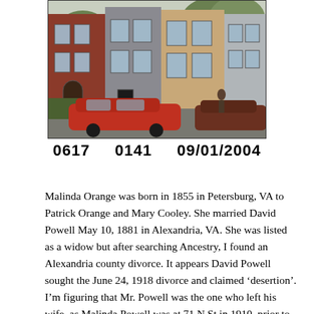[Figure (photo): Street-level photograph of a row of urban townhouses/rowhouses in various brick styles (red brick, gray limestone, tan brick). Several cars including a red car are parked in front. Trees line the street. A person is visible on the right side.]
0617     0141     09/01/2004
Malinda Orange was born in 1855 in Petersburg, VA to Patrick Orange and Mary Cooley. She married David Powell May 10, 1881 in Alexandria, VA. She was listed as a widow but after searching Ancestry, I found an Alexandria county divorce. It appears David Powell sought the June 24, 1918 divorce and claimed ‘desertion’. I’m figuring that Mr. Powell was the one who left his wife, as Malinda Powell was at 71 N St in 1910, prior to the divorce. They were married 37 years and had 5 children.